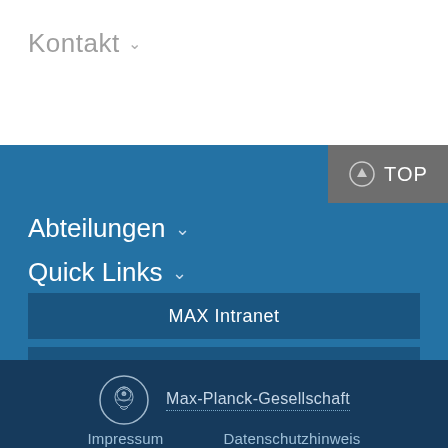Kontakt
Abteilungen
Quick Links
MAX Intranet
MPG
Max-Planck-Gesellschaft
Impressum   Datenschutzhinweis